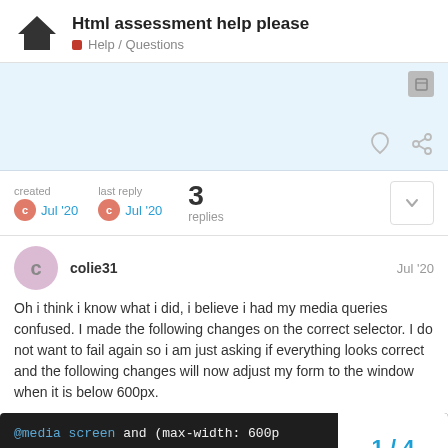Html assessment help please — Help / Questions
created Jul '20   last reply Jul '20   3 replies
colie31   Jul '20
Oh i think i know what i did, i believe i had my media queries confused. I made the following changes on the correct selector. I do not want to fail again so i am just asking if everything looks correct and the following changes will now adjust my form to the window when it is below 600px.
[Figure (screenshot): Code snippet showing CSS: @media screen and (max-width: 600p... and form {]
1 / 4